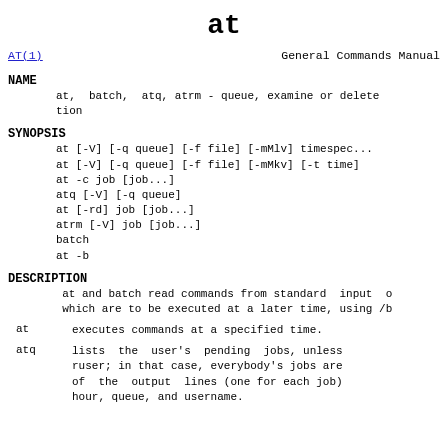at
AT(1)                    General Commands Manual
NAME
at,  batch,  atq, atrm - queue, examine or delete
tion
SYNOPSIS
at [-V] [-q queue] [-f file] [-mMlv] timespec...
at [-V] [-q queue] [-f file] [-mMkv] [-t time]
at -c job [job...]
atq [-V] [-q queue]
at [-rd] job [job...]
atrm [-V] job [job...]
batch
at -b
DESCRIPTION
at and batch read commands from standard  input  o
which are to be executed at a later time, using /b
at        executes commands at a specified time.
atq       lists  the  user's  pending  jobs, unless
ruser; in that case, everybody's jobs are
of  the  output  lines (one for each job)
hour, queue, and username.